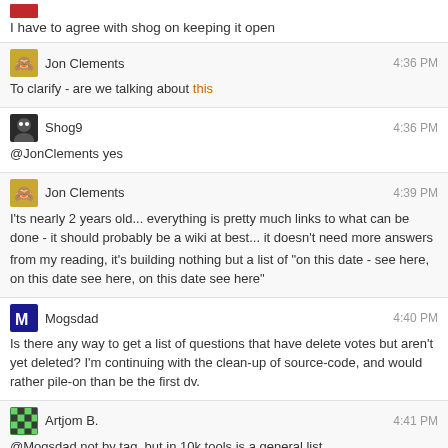I have to agree with shog on keeping it open
Jon Clements  4:36 PM
To clarify - are we talking about this
Shog9  4:36 PM
@JonClements yes
Jon Clements  4:39 PM
I'ts nearly 2 years old... everything is pretty much links to what can be done - it should probably be a wiki at best... it doesn't need more answers
from my reading, it's building nothing but a list of "on this date - see here, on this date see here, on this date see here"
Mogsdad  4:40 PM
Is there any way to get a list of questions that have delete votes but aren't yet deleted? I'm continuing with the clean-up of source-code, and would rather pile-on than be the first dv.
Artjom B.  4:41 PM
@Mogsdad not by tag, but in 10k tools is a general list
Jon Clements  4:42 PM
@Shog9 the most recent answer being "Spring repositories can be downloaded here, the latest being 4.2.0 (release 31-Jul-2015)"
Mogsdad  4:42 PM
@ArtjomB. Thanks - close enough, I guess.